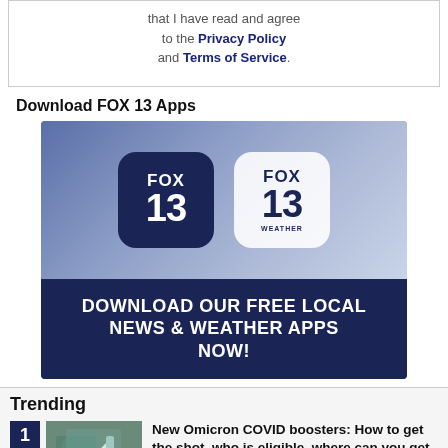that I have read and agree to the Privacy Policy and Terms of Service.
Download FOX 13 Apps
[Figure (screenshot): FOX 13 News and FOX 13 Weather app icons on a blue background, with text: DOWNLOAD OUR FREE LOCAL NEWS & WEATHER APPS NOW!]
Trending
1 — New Omicron COVID boosters: How to get the shot, who is eligible, where can you get vaccinated?